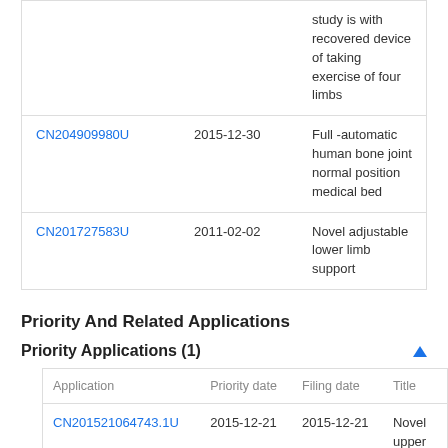| Application | Date | Title |
| --- | --- | --- |
|  |  | study is with recovered device of taking exercise of four limbs |
| CN204909980U | 2015-12-30 | Full -automatic human bone joint normal position medical bed |
| CN201727583U | 2011-02-02 | Novel adjustable lower limb support |
Priority And Related Applications
Priority Applications (1)
| Application | Priority date | Filing date | Title |
| --- | --- | --- | --- |
| CN201521064743.1U | 2015-12-21 | 2015-12-21 | Novel upper limbs fracture mount |